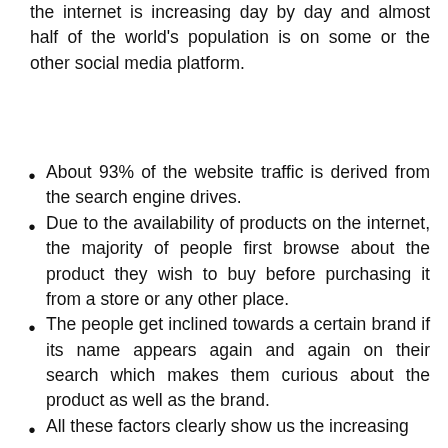the internet is increasing day by day and almost half of the world's population is on some or the other social media platform.
About 93% of the website traffic is derived from the search engine drives.
Due to the availability of products on the internet, the majority of people first browse about the product they wish to buy before purchasing it from a store or any other place.
The people get inclined towards a certain brand if its name appears again and again on their search which makes them curious about the product as well as the brand.
All these factors clearly show us the increasing
This website uses cookies to improve your experience. We'll assume you're ok with this, but you can opt-out if you wish.
Cookie settings   ACCEPT